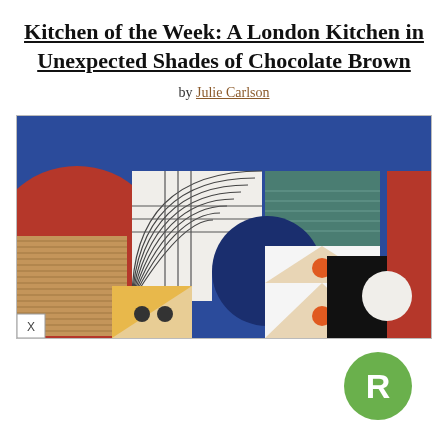Kitchen of the Week: A London Kitchen in Unexpected Shades of Chocolate Brown
by Julie Carlson
[Figure (photo): Decorative tile/textile artwork featuring geometric shapes — squares, triangles, semicircles, and circular dots — in colors including blue, red, white, teal, beige, orange, yellow, and black, arranged in a flat-lay composition on a blue textured background.]
[Figure (logo): Green circular logo with white letter R]